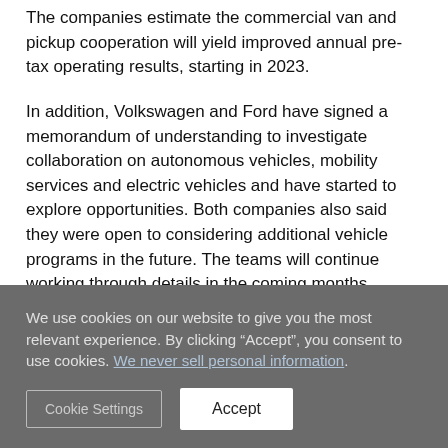The companies estimate the commercial van and pickup cooperation will yield improved annual pre-tax operating results, starting in 2023.
In addition, Volkswagen and Ford have signed a memorandum of understanding to investigate collaboration on autonomous vehicles, mobility services and electric vehicles and have started to explore opportunities. Both companies also said they were open to considering additional vehicle programs in the future. The teams will continue working through details in the coming months.
We use cookies on our website to give you the most relevant experience. By clicking “Accept”, you consent to use cookies. We never sell personal information.
Cookie Settings  Accept